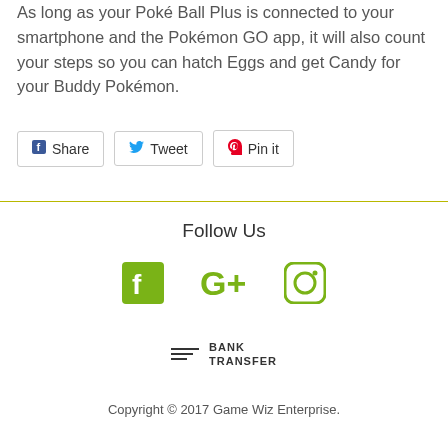As long as your Poké Ball Plus is connected to your smartphone and the Pokémon GO app, it will also count your steps so you can hatch Eggs and get Candy for your Buddy Pokémon.
Share
Tweet
Pin it
Follow Us
[Figure (logo): Facebook, Google+, and Instagram social media icons in olive/green color]
[Figure (logo): Bank Transfer payment icon with horizontal lines and bold text BANK TRANSFER]
Copyright © 2017 Game Wiz Enterprise.